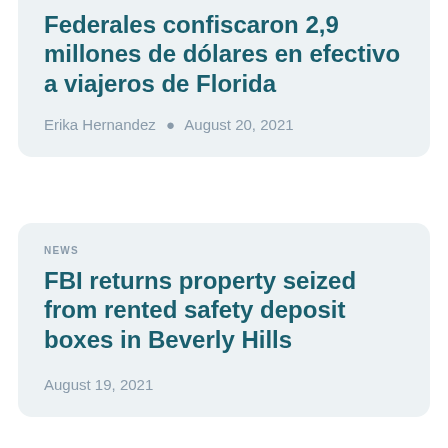Federales confiscaron 2,9 millones de dólares en efectivo a viajeros de Florida
Erika Hernandez • August 20, 2021
NEWS
FBI returns property seized from rented safety deposit boxes in Beverly Hills
August 19, 2021